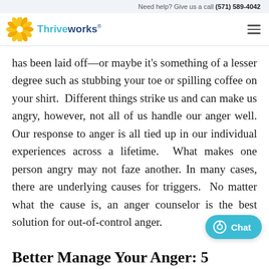Need help? Give us a call (571) 589-4042
[Figure (logo): Thriveworks logo with sunburst icon and stylized text]
has been laid off—or maybe it's something of a lesser degree such as stubbing your toe or spilling coffee on your shirt.  Different things strike us and can make us angry, however, not all of us handle our anger well. Our response to anger is all tied up in our individual experiences across a lifetime.  What makes one person angry may not faze another. In many cases, there are underlying causes for triggers.  No matter what the cause is, an anger counselor is the best solution for out-of-control anger.
Better Manage Your Anger: 5